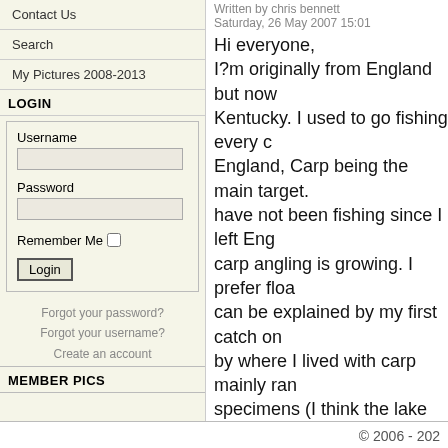Contact Us
Search
My Pictures 2008-2013
LOGIN
Username
Password
Remember Me
Login
Forgot your password?
Forgot your username?
Create an account
MEMBER PICS
Written by chris bennett
Saturday, 26 May 2007 15:01
Hi everyone,
I?m originally from England but now Kentucky. I used to go fishing every England, Carp being the main target. have not been fishing since I left Eng carp angling is growing. I prefer floa can be explained by my first catch on by where I lived with carp mainly ra specimens (I think the lake record w more fun I used to use a light line (a happened to be christened by a 21lb was tiring, exciting and extremely lu the light tackle made it the most rew I would be interested to know if any float rod and reel at a reasonable pri for local tackle shops and all that co have spinning and fly rods. I would barb-less hooks.
Thanks LB
< Prev
© 2006 - 202